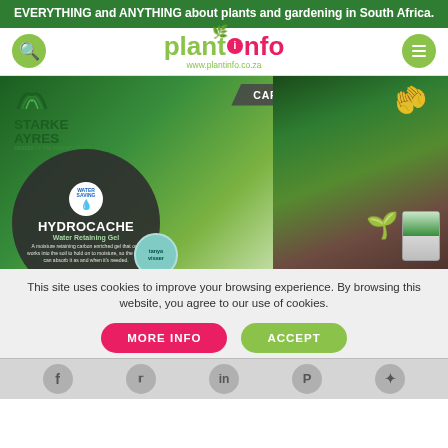EVERYTHING and ANYTHING about plants and gardening in South Africa.
[Figure (logo): Plantinfo logo with leaf icon, search button (green circle), and menu button (green circle). URL: www.plantinfo.co.za]
[Figure (photo): Starke Ayres Hydrocache Water Retaining Gel advertisement. Banner reads 'CARBON LOAD YOUR GARDEN'. Shows product circle with Water Saving badge, Hydrocache branding, description text, Tanya Visser endorsement badge, hand watering a seedling from soil, and product packaging.]
This site uses cookies to improve your browsing experience. By browsing this website, you agree to our use of cookies.
MORE INFO
ACCEPT
[Figure (infographic): Social sharing bar with Facebook, Twitter, Pinterest, and other social media icons]